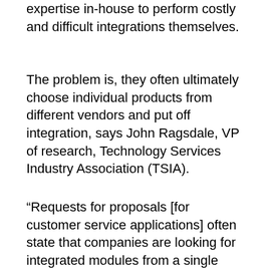expertise in-house to perform costly and difficult integrations themselves.
The problem is, they often ultimately choose individual products from different vendors and put off integration, says John Ragsdale, VP of research, Technology Services Industry Association (TSIA).
“Requests for proposals [for customer service applications] often state that companies are looking for integrated modules from a single vendor, but they end up getting one vendor for one channel and another vendor for another. The purchaser keeps pushing out the integration to phase two or three of a roll-out,” he says. “We